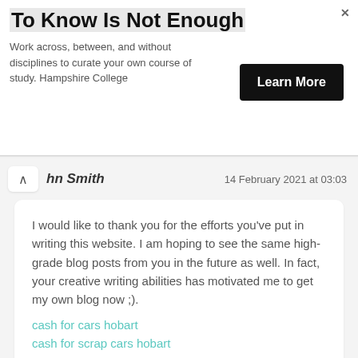[Figure (other): Advertisement banner: 'To Know Is Not Enough' with 'Learn More' button from Hampshire College]
hn Smith
14 February 2021 at 03:03
I would like to thank you for the efforts you've put in writing this website. I am hoping to see the same high-grade blog posts from you in the future as well. In fact, your creative writing abilities has motivated me to get my own blog now ;).
cash for cars hobart
cash for scrap cars hobart